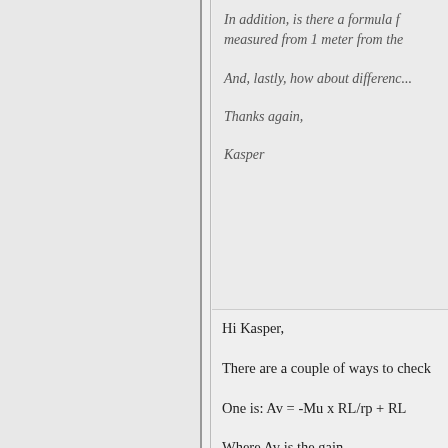In addition, is there a formula f... measured from 1 meter from the...
And, lastly, how about differenc...
Thanks again,
Kasper
Hi Kasper,
There are a couple of ways to check
One is: Av = -Mu x RL/rp + RL
Where Av is the gain
Mu is the mu of the tube.